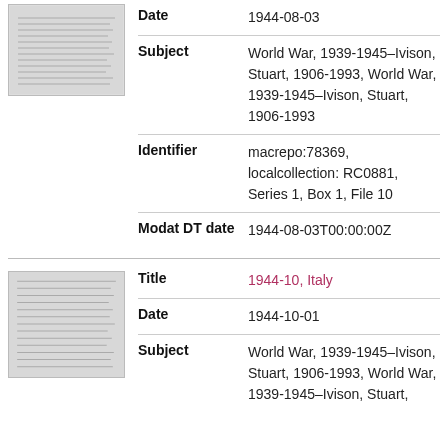[Figure (photo): Thumbnail of handwritten document page]
Date	1944-08-03
Subject	World War, 1939-1945–Ivison, Stuart, 1906-1993, World War, 1939-1945–Ivison, Stuart, 1906-1993
Identifier	macrepo:78369, localcollection: RC0881, Series 1, Box 1, File 10
Modat DT date	1944-08-03T00:00:00Z
[Figure (photo): Thumbnail of handwritten document page 2]
Title	1944-10, Italy
Date	1944-10-01
Subject	World War, 1939-1945–Ivison, Stuart, 1906-1993, World War, 1939-1945–Ivison, Stuart,